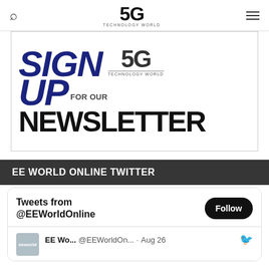5G TECHNOLOGY WORLD
[Figure (illustration): Newsletter signup banner with large bold text: SIGN UP FOR OUR NEWSLETTER with 5G Technology World logo]
EE WORLD ONLINE TWITTER
[Figure (screenshot): Twitter widget showing Tweets from @EEWorldOnline with Follow button and tweet from EE Wo... @EEWorldOn... Aug 26]